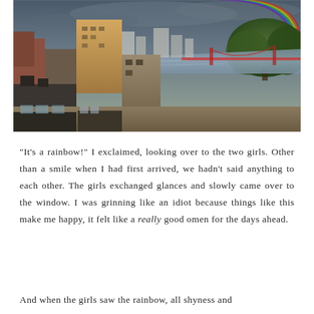[Figure (photo): Aerial cityscape photograph showing urban buildings in the foreground with a river and suspension bridge in the middle ground, trees on the right, city skyline in the background, and a rainbow visible in the upper right corner of a dramatic cloudy sky.]
“It's a rainbow!” I exclaimed, looking over to the two girls. Other than a smile when I had first arrived, we hadn't said anything to each other. The girls exchanged glances and slowly came over to the window. I was grinning like an idiot because things like this make me happy, it felt like a really good omen for the days ahead.
And when the girls saw the rainbow, all shyness and